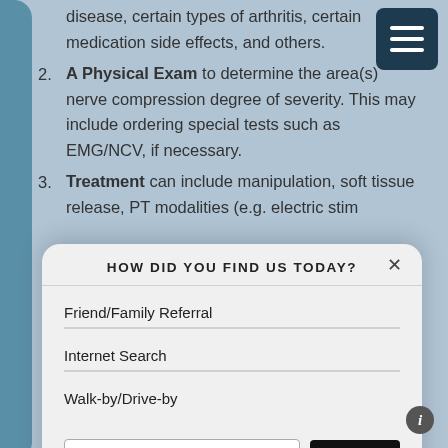disease, certain types of arthritis, certain medication side effects, and others.
A Physical Exam to determine the area(s) nerve compression degree of severity. This may include ordering special tests such as EMG/NCV, if necessary.
Treatment can include manipulation, soft tissue release, PT modalities (e.g. electric stim...
HOW DID YOU FIND US TODAY?
Friend/Family Referral
Internet Search
Walk-by/Drive-by
Other (please specify)